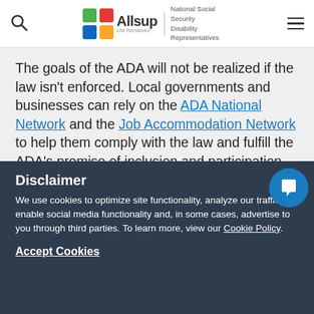Allsup — National Social Security Disability Representatives
The goals of the ADA will not be realized if the law isn't enforced. Local governments and businesses can rely on the ADA National Network and the Job Accommodation Network to help them comply with the law and fulfill the ADA's promise of inclusion and participation.
Disclaimer
We use cookies to optimize site functionality, analyze our traffic, enable social media functionality and, in some cases, advertise to you through third parties. To learn more, view our Cookie Policy.
Accept Cookies